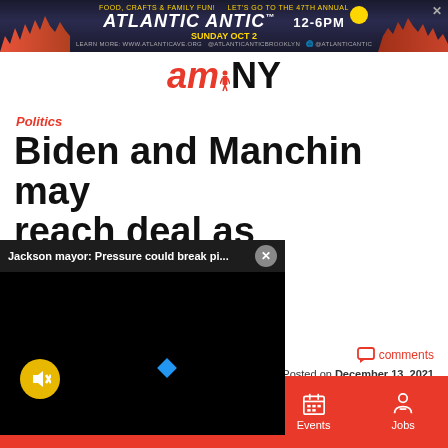[Figure (screenshot): Atlantic Antic festival advertisement banner. Text: FOOD, CRAFTS & FAMILY FUN! LET'S GO TO THE 47TH ANNUAL ATLANTIC ANTIC SUNDAY OCT 2 12-6PM with city skyline artwork.]
amNY
Politics
Biden and Manchin may ... as ... 2 trillion
[Figure (screenshot): Video popup overlay showing 'Jackson mayor: Pressure could break pi...' with close button and muted (yellow speaker icon) video player on black background with a blue diamond loading indicator.]
comments
Posted on December 13, 2021
Sections  Contact  Home Pros  Events  Jobs